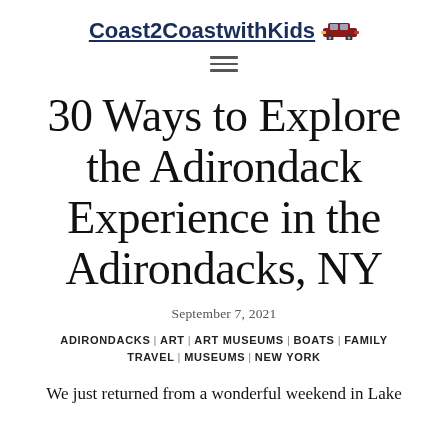Coast2CoastwithKids
30 Ways to Explore the Adirondack Experience in the Adirondacks, NY
September 7, 2021
ADIRONDACKS | ART | ART MUSEUMS | BOATS | FAMILY TRAVEL | MUSEUMS | NEW YORK
We just returned from a wonderful weekend in Lake